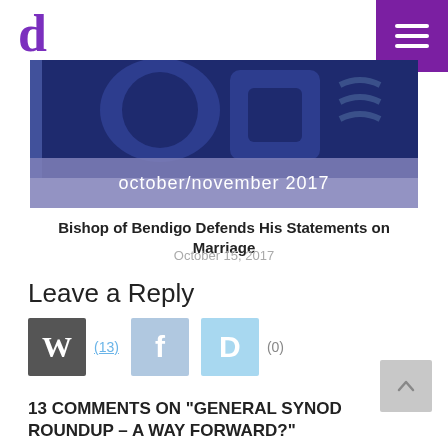d (logo) / hamburger menu
[Figure (illustration): Dark blue magazine cover partial image with text 'october/november 2017' on a lighter blue-purple banner, and large decorative lettering visible at top]
Bishop of Bendigo Defends His Statements on Marriage
October 15, 2017
Leave a Reply
[Figure (infographic): Row of social login/comment icons: WordPress (W) with count (13), Facebook (f), Disqus (D) with count (0)]
13 COMMENTS ON "GENERAL SYNOD ROUNDUP – A WAY FORWARD?"